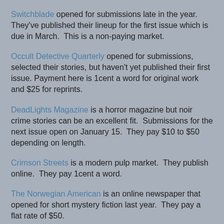Switchblade opened for submissions late in the year. They've published their lineup for the first issue which is due in March. This is a non-paying market.
Occult Detective Quarterly opened for submissions, selected their stories, but haven't yet published their first issue. Payment here is 1cent a word for original work and $25 for reprints.
DeadLights Magazine is a horror magazine but noir crime stories can be an excellent fit. Submissions for the next issue open on January 15. They pay $10 to $50 depending on length.
Crimson Streets is a modern pulp market. They publish online. They pay 1cent a word.
The Norwegian American is an online newspaper that opened for short mystery fiction last year. They pay a flat rate of $50.